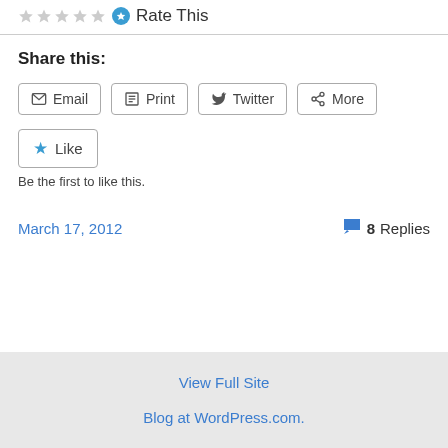Rate This
Share this:
Email
Print
Twitter
More
Like
Be the first to like this.
March 17, 2012
8 Replies
View Full Site
Blog at WordPress.com.